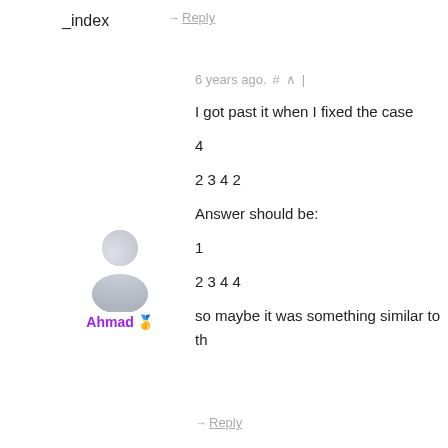_index
→ Reply
6 years ago. # ↑ |
I got past it when I fixed the case
4
2 3 4 2
Answer should be:
1
2 3 4 4
so maybe it was something similar to th
[Figure (illustration): Generic user avatar (grey person silhouette)]
Ahmad 🥇
→ Reply